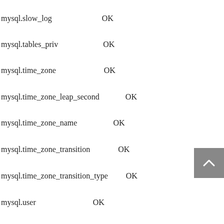mysql.slow_log    OK
mysql.tables_priv    OK
mysql.time_zone    OK
mysql.time_zone_leap_second    OK
mysql.time_zone_name    OK
mysql.time_zone_transition    OK
mysql.time_zone_transition_type    OK
mysql.user    OK